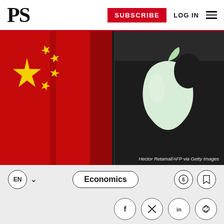PS — SUBSCRIBE   LOG IN
[Figure (photo): Split image: left half shows Chinese flag (red background with yellow stars), right half shows Apple logo (glowing white apple silhouette on dark background). Photo credit: Hector Retamal/AFP via Getty Images]
Hector Retamal/AFP via Getty Images
EN   Economics
Social share icons: Facebook, Twitter/X, LinkedIn, Link